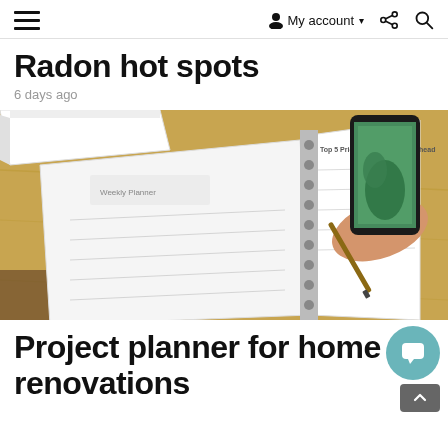≡  My account ▾  share  search
Radon hot spots
6 days ago
[Figure (photo): Overhead view of an open spiral-bound planner notebook on a wooden desk, with a hand holding a pen writing on the right page. A smartphone showing a photo of plants and a white book are also visible on the desk.]
Project planner for home renovations